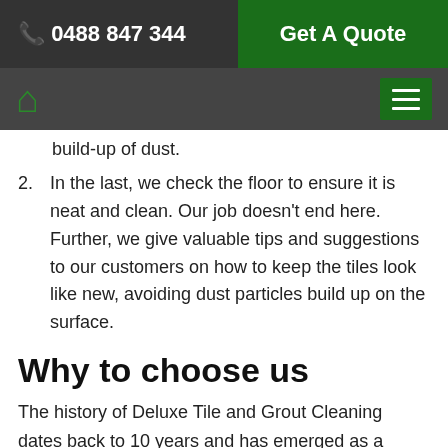📞 0488 847 344 | Get A Quote
build-up of dust.
2. In the last, we check the floor to ensure it is neat and clean. Our job doesn't end here. Further, we give valuable tips and suggestions to our customers on how to keep the tiles look like new, avoiding dust particles build up on the surface.
Why to choose us
The history of Deluxe Tile and Grout Cleaning dates back to 10 years and has emerged as a leading tile cleaning company in Lake Plains.